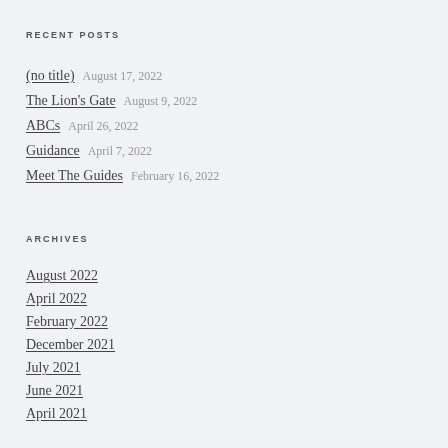RECENT POSTS
(no title)  August 17, 2022
The Lion's Gate  August 9, 2022
ABCs  April 26, 2022
Guidance  April 7, 2022
Meet The Guides  February 16, 2022
ARCHIVES
August 2022
April 2022
February 2022
December 2021
July 2021
June 2021
April 2021